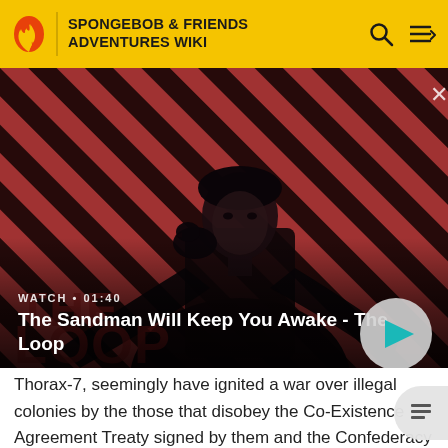SPONGEBOB & FRIENDS ADVENTURES WIKI
[Figure (screenshot): Video thumbnail showing a dark figure with a raven on shoulder against a red and black diagonal stripe background. Video title: The Sandman Will Keep You Awake - The Loop. Duration: 01:40. Play button overlay on right.]
Thorax-7, seemingly have ignited a war over illegal colonies by the those that disobey the Co-Existence Agreement Treaty signed by them and the Confederacy over trying to mine highly valuable gems that were brought over from their unknown native Uuniverses that are not only worth a fortune, but could hold secrets to